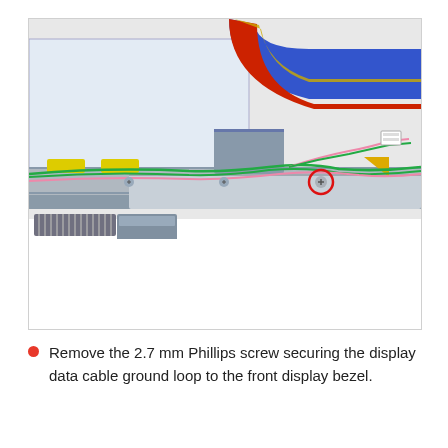[Figure (photo): Close-up photo of a laptop display assembly interior showing colorful ribbon cables (blue, red, gold), green and pink wires, grey metal frame/bezel, yellow foam pads, a red-circled Phillips screw, and a coiled spring mechanism at the lower left.]
Remove the 2.7 mm Phillips screw securing the display data cable ground loop to the front display bezel.